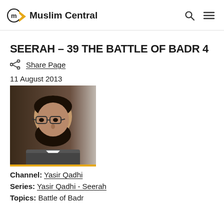Muslim Central
SEERAH – 39 THE BATTLE OF BADR 4
Share Page
11 August 2013
[Figure (photo): Portrait photo of Yasir Qadhi, a bearded man with glasses, against a grey background]
Channel: Yasir Qadhi
Series: Yasir Qadhi - Seerah
Topics: Battle of Badr